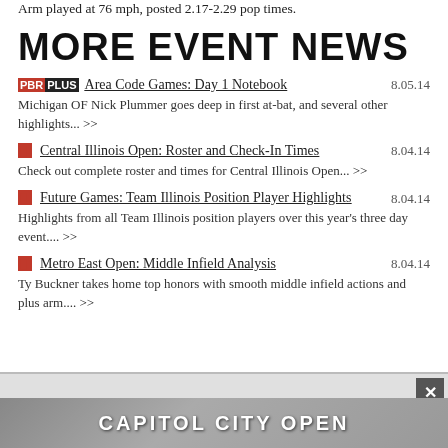Arm played at 76 mph, posted 2.17-2.29 pop times.
MORE EVENT NEWS
PBRPLUS Area Code Games: Day 1 Notebook 8.05.14 Michigan OF Nick Plummer goes deep in first at-bat, and several other highlights... >>
Central Illinois Open: Roster and Check-In Times 8.04.14 Check out complete roster and times for Central Illinois Open... >>
Future Games: Team Illinois Position Player Highlights 8.04.14 Highlights from all Team Illinois position players over this year's three day event.... >>
Metro East Open: Middle Infield Analysis 8.04.14 Ty Buckner takes home top honors with smooth middle infield actions and plus arm.... >>
[Figure (other): Advertisement banner at bottom showing Capitol City Open logo on grey background with close button]